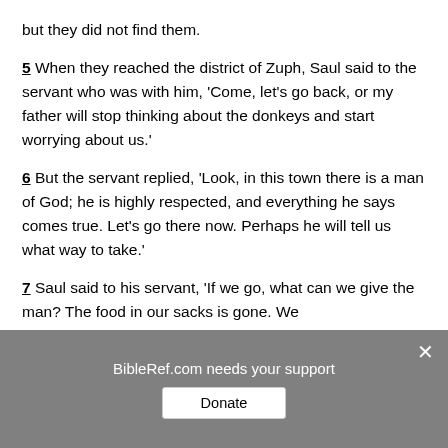but they did not find them.
5 When they reached the district of Zuph, Saul said to the servant who was with him, 'Come, let's go back, or my father will stop thinking about the donkeys and start worrying about us.'
6 But the servant replied, 'Look, in this town there is a man of God; he is highly respected, and everything he says comes true. Let's go there now. Perhaps he will tell us what way to take.'
7 Saul said to his servant, 'If we go, what can we give the man? The food in our sacks is gone. We
BibleRef.com needs your support
Donate